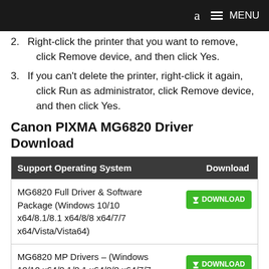a  MENU
2. Right-click the printer that you want to remove, click Remove device, and then click Yes.
3. If you can't delete the printer, right-click it again, click Run as administrator, click Remove device, and then click Yes.
Canon PIXMA MG6820 Driver Download
| Support Operating System | Download |
| --- | --- |
| MG6820 Full Driver & Software Package (Windows 10/10 x64/8.1/8.1 x64/8/8 x64/7/7 x64/Vista/Vista64) | DOWNLOAD |
| MG6820 MP Drivers – (Windows 10/10 x64/8.1/8.1 x64/8/8 x64/7/7 x64/Vista/Vista64) | DOWNLOAD |